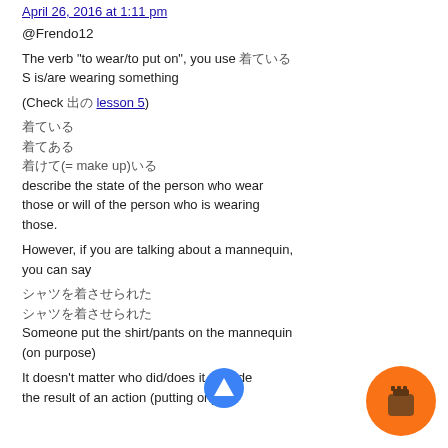April 26, 2016 at 1:11 pm
@Frendo12
The verb "to wear/to put on", you use 着ている S is/are wearing something
(Check 出の lesson 5)
着ている
着てある
着けて(= make up)いる
describe the state of the person who wear those or will of the person who is wearing those.
However, if you are talking about a mannequin, you can say
シャツを着させられた
シャツを着させられた
Someone put the shirt/pants on the mannequin (on purpose)
It doesn't matter who did/does it. You describe the result of an action (putting on).